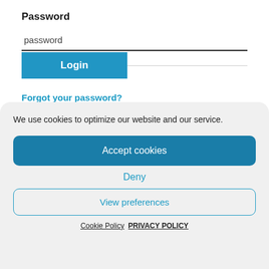Password
password
Login
Forgot your password?
Request activation code?
We use cookies to optimize our website and our service.
Accept cookies
Deny
View preferences
Cookie Policy   PRIVACY POLICY